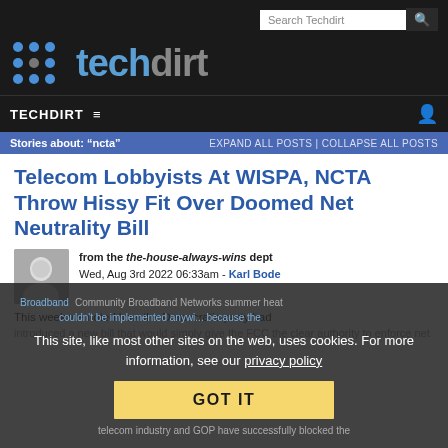Search Techdirt
[Figure (logo): Techdirt logo with dot grid icon and stylized text in blue and gray on dark background]
TECHDIRT ☰
Stories about: "ncta" | EXPAND ALL POSTS | COLLAPSE ALL POSTS
Telecom Lobbyists At WISPA, NCTA Throw Hissy Fit Over Doomed Net Neutrality Bill
from the the-house-always-wins dept
Wed, Aug 3rd 2022 06:33am - Karl Bode
This week we noted how the Democratic party had introduced a new bill that would simply give the FCC the clear authority to enforce net
This site, like most other sites on the web, uses cookies. For more information, see our privacy policy
GOT IT